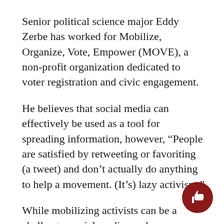Senior political science major Eddy Zerbe has worked for Mobilize, Organize, Vote, Empower (MOVE), a non-profit organization dedicated to voter registration and civic engagement.
He believes that social media can effectively be used as a tool for spreading information, however, “People are satisfied by retweeting or favoriting (a tweet) and don’t actually do anything to help a movement. (It’s) lazy activism.”
While mobilizing activists can be a challenge, social media can be an empowering tool for people whose voices were previously silenced.
According to the Pew Research Center, almost 90 percent of U.S. citizens actively use the Internet and 58 percent of people use smart